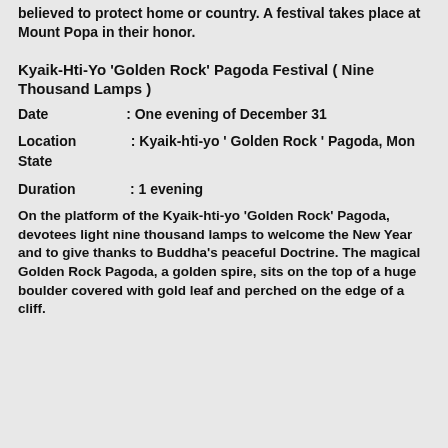believed to protect home or country. A festival takes place at Mount Popa in their honor.
Kyaik-Hti-Yo 'Golden Rock' Pagoda Festival ( Nine Thousand Lamps )
Date                  : One evening of December 31
Location             : Kyaik-hti-yo ' Golden Rock ' Pagoda, Mon State
Duration             : 1 evening
On the platform of the Kyaik-hti-yo 'Golden Rock' Pagoda, devotees light nine thousand lamps to welcome the New Year and to give thanks to Buddha's peaceful Doctrine. The magical Golden Rock Pagoda, a golden spire, sits on the top of a huge  boulder covered with gold leaf and perched on the edge of a cliff.